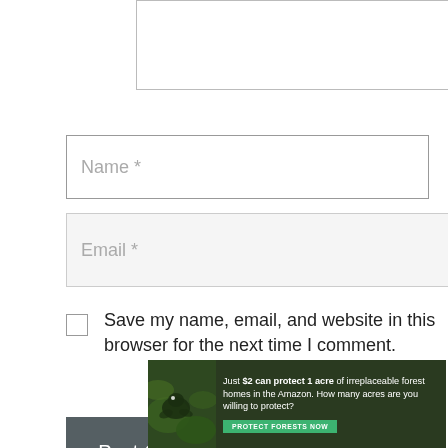[Figure (screenshot): Textarea input field (comment box), partially visible at top]
[Figure (screenshot): Name input field with placeholder text 'Name *']
[Figure (screenshot): Email input field with placeholder text 'Email *']
Save my name, email, and website in this browser for the next time I comment.
[Figure (screenshot): Post Comment button, dark gray background with white text]
[Figure (infographic): Advertisement banner: 'Just $2 can protect 1 acre of irreplaceable forest homes in the Amazon. How many acres are you willing to protect?' with a green 'PROTECT FORESTS NOW' button and forest/wildlife image on left.]